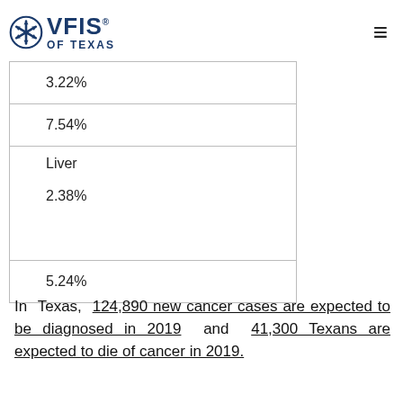VFIS OF TEXAS
| 3.22% |
| 7.54% |
| Liver

2.38% |
| 5.24% |
In Texas, 124,890 new cancer cases are expected to be diagnosed in 2019 and 41,300 Texans are expected to die of cancer in 2019.